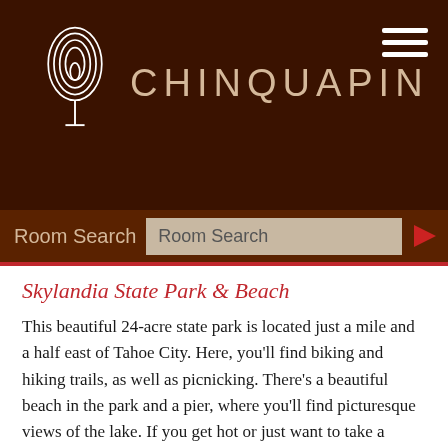[Figure (logo): Chinquapin resort logo with white leaf/flame icon and brand name CHINQUAPIN on dark brown background]
Room Search
Skylandia State Park & Beach
This beautiful 24-acre state park is located just a mile and a half east of Tahoe City. Here, you'll find biking and hiking trails, as well as picnicking. There's a beautiful beach in the park and a pier, where you'll find picturesque views of the lake. If you get hot or just want to take a refreshing dip, the swimming area will be perfect for you.
Emerald Bay State Park
When you drive into Emerald Bay State Park, you'll see Inspiration Point, where you can stop and enjoy the dramatic landscape and the historic Fannette Island. In Emerald Bay State Park, you can enjoy hiking, biking, kayaking, or boating in Emerald Lake